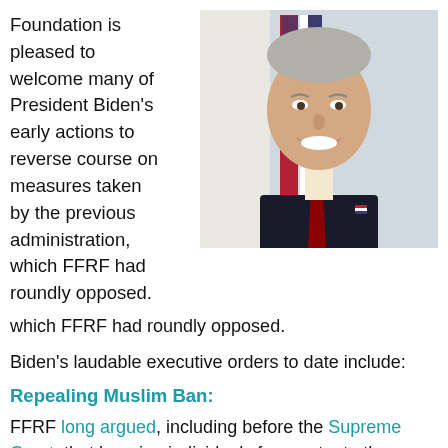Foundation is pleased to welcome many of President Biden's early actions to reverse course on measures taken by the previous administration, which FFRF had roundly opposed.
[Figure (photo): Headshot of President Joe Biden in a dark suit and red tie, smiling, with an American flag in the background.]
Biden's laudable executive orders to date include:
Repealing Muslim Ban:
FFRF long argued, including before the Supreme Court, that banning individuals from entry to the